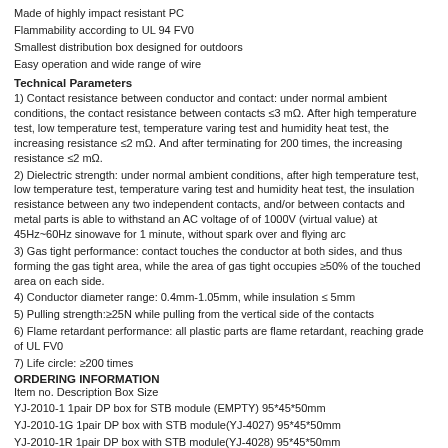Made of highly impact resistant PC
Flammability according to UL 94 FV0
Smallest distribution box designed for outdoors
Easy operation and wide range of wire
Technical Parameters
1) Contact resistance between conductor and contact: under normal ambient conditions, the contact resistance between contacts ≤3 mΩ. After high temperature test, low temperature test, temperature varing test and humidity heat test, the increasing resistance ≤2 mΩ. And after terminating for 200 times, the increasing resistance ≤2 mΩ.
2) Dielectric strength: under normal ambient conditions, after high temperature test, low temperature test, temperature varing test and humidity heat test, the insulation resistance between any two independent contacts, and/or between contacts and metal parts is able to withstand an AC voltage of of 1000V (virtual value) at 45Hz~60Hz sinowave for 1 minute, without spark over and flying arc
3) Gas tight performance: contact touches the conductor at both sides, and thus forming the gas tight area, while the area of gas tight occupies ≥50% of the touched area on each side.
4) Conductor diameter range: 0.4mm-1.05mm, while insulation ≤ 5mm
5) Pulling strength:≥25N while pulling from the vertical side of the contacts
6) Flame retardant performance: all plastic parts are flame retardant, reaching grade of UL FV0
7) Life circle: ≥200 times
ORDERING INFORMATION
Item no. Description Box Size
YJ-2010-1 1pair DP box for STB module (EMPTY) 95*45*50mm
YJ-2010-1G 1pair DP box with STB module(YJ-4027) 95*45*50mm
YJ-2010-1R 1pair DP box with STB module(YJ-4028) 95*45*50mm
YJ-2010-1O 1pair DP box with STB module(YJ-4029) 95*45*50mm
YJ-2010-2 2pair DP box for STB module (EMPTY) 145*95*75mm
YJ-2011 10pair DP box for STB module (EMPTY) 195*195*85mm
YJ-2012 20pair DP box for STB module (EMPTY) 350*190*95mm